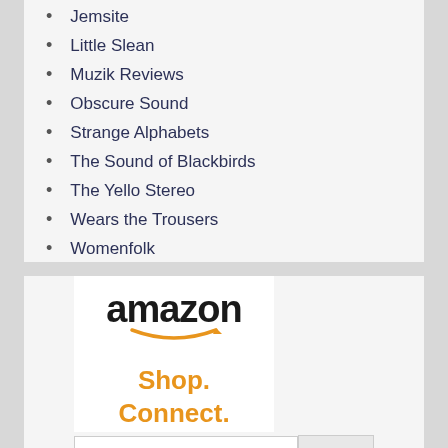Jemsite
Little Slean
Muzik Reviews
Obscure Sound
Strange Alphabets
The Sound of Blackbirds
The Yello Stereo
Wears the Trousers
Womenfolk
[Figure (logo): Amazon logo with smile arrow and tagline: Shop. Connect. Enjoy.]
ENHANCED BY Google  Search